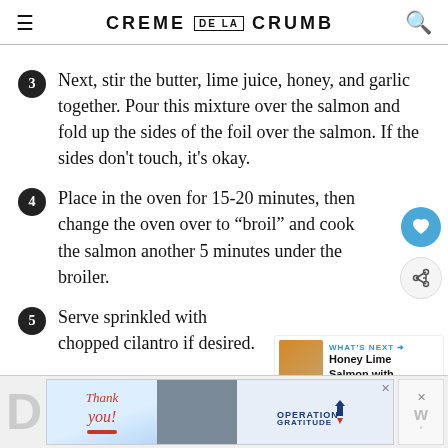CREME DE LA CRUMB
Next, stir the butter, lime juice, honey, and garlic together. Pour this mixture over the salmon and fold up the sides of the foil over the salmon. If the sides don't touch, it's okay.
Place in the oven for 15-20 minutes, then change the oven over to “broil” and cook the salmon another 5 minutes under the broiler.
Serve sprinkled with chopped cilantro if desired.
[Figure (other): Advertisement banner: Thank you Operation Gratitude military appreciation ad]